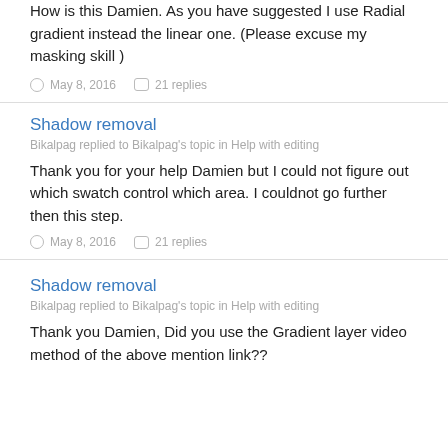How is this Damien. As you have suggested I use Radial gradient instead the linear one. (Please excuse my masking skill )
May 8, 2016   21 replies
Shadow removal
Bikalpag replied to Bikalpag's topic in Help with editing
Thank you for your help Damien but I could not figure out which swatch control which area. I couldnot go further then this step.
May 8, 2016   21 replies
Shadow removal
Bikalpag replied to Bikalpag's topic in Help with editing
Thank you Damien, Did you use the Gradient layer video method of the above mention link??